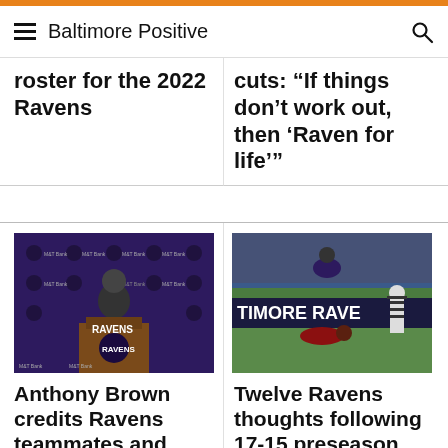Baltimore Positive
roster for the 2022 Ravens
cuts: “If things don’t work out, then ‘Raven for life’”
[Figure (photo): Anthony Brown at a Ravens press conference podium with M&T Bank Ravens branded backdrop]
[Figure (photo): Ravens player flipping over a Commanders player during a preseason game, with referee in background]
Anthony Brown credits Ravens teammates and coaches for growth
Twelve Ravens thoughts following 17-15 preseason win over